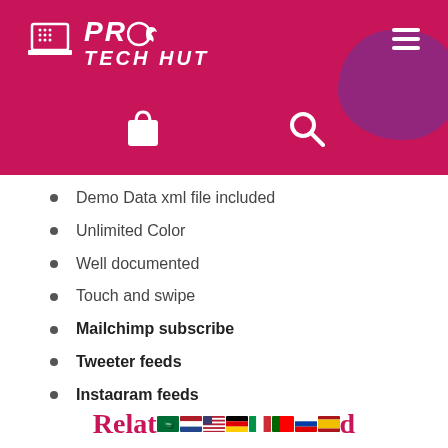[Figure (logo): Pro Tech Hut logo with laptop icon and stylized text on crimson background with purple decorative blob, hamburger menu icon, shopping bag icon, and search icon]
Demo Data xml file included
Unlimited Color
Well documented
Touch and swipe
Mailchimp subscribe
Tweeter feeds
Instagram feeds
And much more...
Related